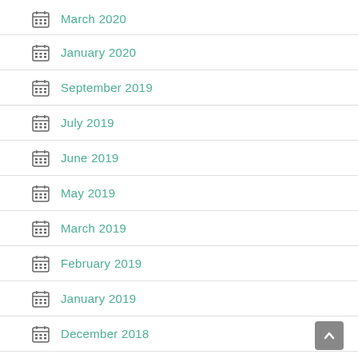March 2020
January 2020
September 2019
July 2019
June 2019
May 2019
March 2019
February 2019
January 2019
December 2018